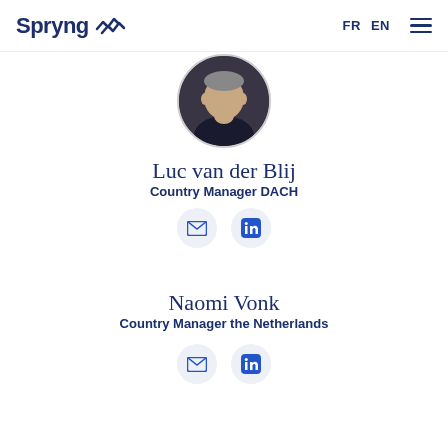Spryng FR EN
[Figure (photo): Circular profile photo of Luc van der Blij, a man wearing a dark shirt]
Luc van der Blij
Country Manager DACH
[Figure (infographic): Email icon and LinkedIn icon buttons for Luc van der Blij]
Naomi Vonk
Country Manager the Netherlands
[Figure (infographic): Email icon and LinkedIn icon buttons for Naomi Vonk]